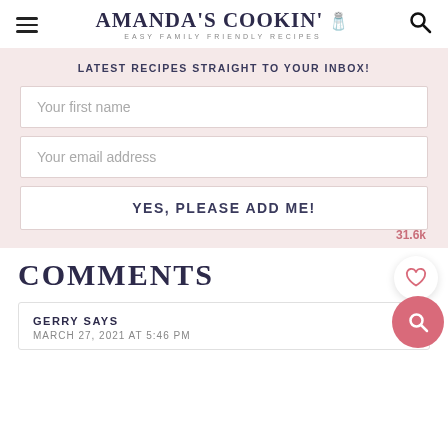AMANDA'S COOKIN' EASY FAMILY FRIENDLY RECIPES
LATEST RECIPES STRAIGHT TO YOUR INBOX!
Your first name
Your email address
YES, PLEASE ADD ME!
31.6k
COMMENTS
GERRY SAYS
MARCH 27, 2021 AT 5:46 PM